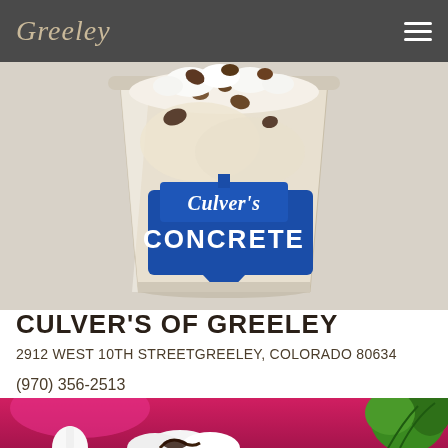Greeley
[Figure (photo): Photo of a Culver's Concrete Mixer frozen custard cup with whipped cream and mix-ins on top, showing the Culver's blue logo and 'CONCRETE' text on the cup]
CULVER'S OF GREELEY
2912 WEST 10TH STREETGREELEY, COLORADO 80634
(970) 356-2513
[Figure (photo): Partial photo of a dessert with whipped cream and dark chocolate sauce, with a green plant visible on the right edge, on a pink/magenta background]